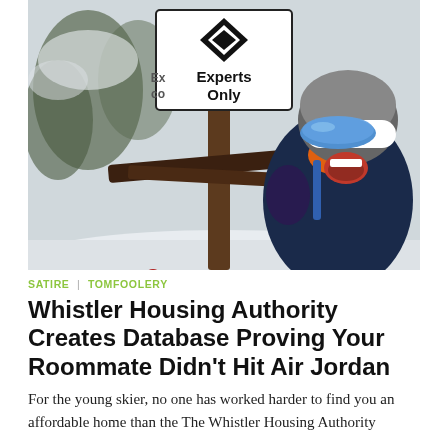[Figure (photo): A skier wearing a helmet and blue mirrored goggles laughs excitedly while pointing at an 'Experts Only' black diamond ski trail sign. The background shows snow-covered trees.]
SATIRE | TOMFOOLERY
Whistler Housing Authority Creates Database Proving Your Roommate Didn't Hit Air Jordan
For the young skier, no one has worked harder to find you an affordable home than the The Whistler Housing Authority